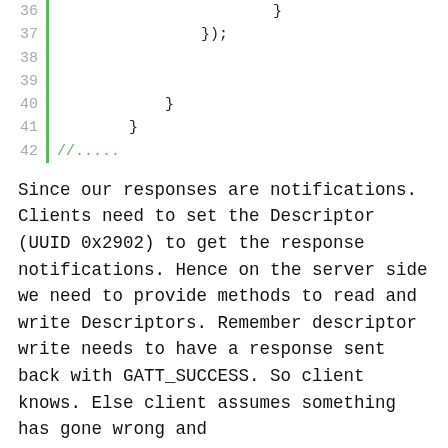[Figure (screenshot): Code snippet lines 36-42 with green vertical bar on left and line numbers. Line 36: }, Line 37: });, Line 38: (blank), Line 39: (blank), Line 40: }, Line 41: }, Line 42: //.... The comment on line 42 is in green.]
Since our responses are notifications. Clients need to set the Descriptor (UUID 0x2902) to get the response notifications. Hence on the server side we need to provide methods to read and write Descriptors. Remember descriptor write needs to have a response sent back with GATT_SUCCESS. So client knows. Else client assumes something has gone wrong and